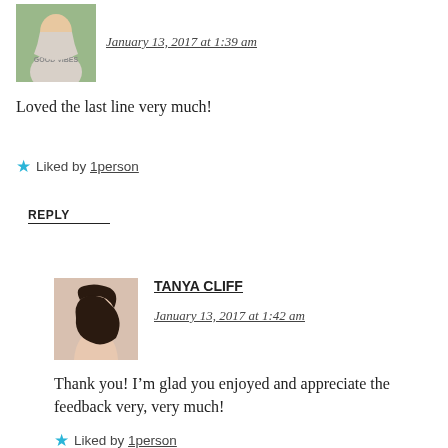[Figure (photo): Avatar photo of a woman with dark hair wearing a light-colored top with 'GOOD VIBES' text, outdoors with greenery background]
January 13, 2017 at 1:39 am
Loved the last line very much!
Liked by 1person
REPLY
[Figure (photo): Avatar photo of a woman with long dark hair, hand near face, light background]
TANYA CLIFF
January 13, 2017 at 1:42 am
Thank you! I'm glad you enjoyed and appreciate the feedback very, very much!
Liked by 1person